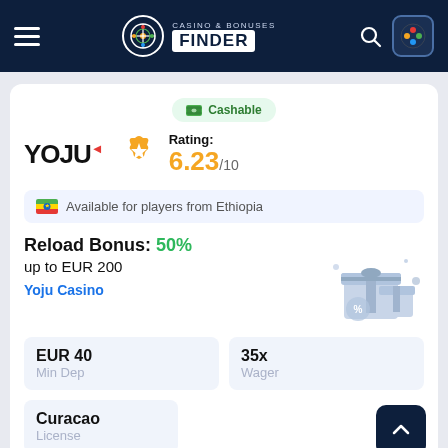CASINO & BONUSES FINDER
Cashable
YOJU — Rating: 6.23/10
Available for players from Ethiopia
Reload Bonus: 50% up to EUR 200
Yoju Casino
EUR 40
Min Dep
35x
Wager
Curacao
License